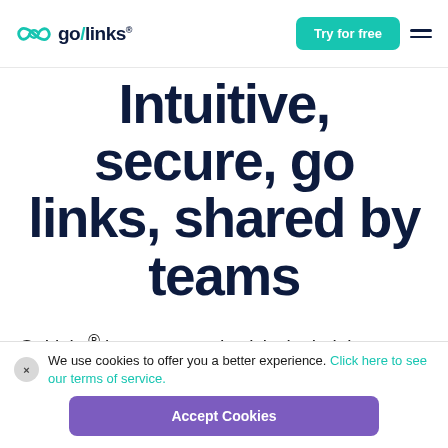go/links — Try for free
Intuitive, secure, go links, shared by teams
GoLinks® improves productivity by helping teams find and share information fast with memorable short links called go/links
We use cookies to offer you a better experience. Click here to see our terms of service.
Accept Cookies